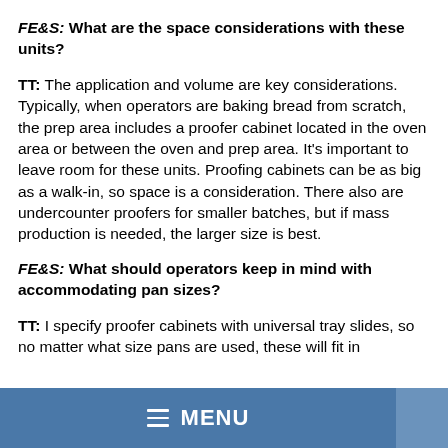FE&S: What are the space considerations with these units?
TT: The application and volume are key considerations. Typically, when operators are baking bread from scratch, the prep area includes a proofer cabinet located in the oven area or between the oven and prep area. It’s important to leave room for these units. Proofing cabinets can be as big as a walk-in, so space is a consideration. There also are undercounter proofers for smaller batches, but if mass production is needed, the larger size is best.
FE&S: What should operators keep in mind with accommodating pan sizes?
TT: I specify proofer cabinets with universal tray slides, so no matter what size pans are used, these will fit in
MENU